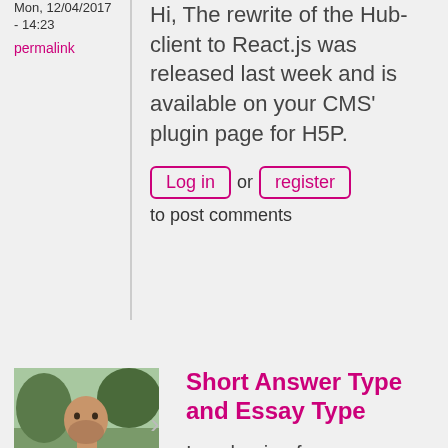Mon, 12/04/2017 - 14:23
permalink
Hi, The rewrite of the Hub-client to React.js was released last week and is available on your CMS' plugin page for H5P.
Log in or register to post comments
[Figure (photo): Avatar photo of user sbarab, a man in a plaid shirt outdoors]
sbarab
Fri, 12/08/2017
Short Answer Type and Essay Type
I am hoping for an easy essay type with RTE at top or not, and short answer type specifying